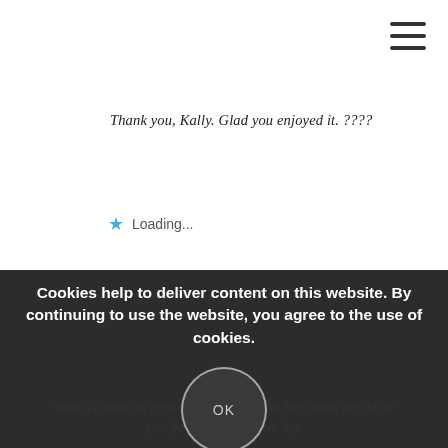[Figure (other): Hamburger menu icon (three horizontal lines) in top right corner]
Thank you, Kally. Glad you enjoyed it. ????
★ Loading...
REPLY
Cookies help to deliver content on this website. By continuing to use the website, you agree to the use of cookies.
OK
What a comedy of errors! I don't know who Jolly most, the fish or your father! Have a great day.